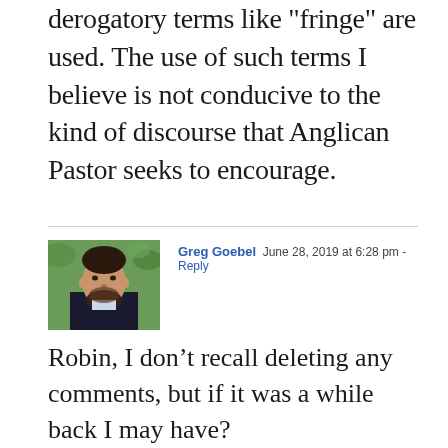derogatory terms like 'fringe' are used. The use of such terms I believe is not conducive to the kind of discourse that Anglican Pastor seeks to encourage.
Greg Goebel  June 28, 2019 at 6:28 pm - Reply
[Figure (photo): Profile photo of Greg Goebel, a man with a beard wearing a dark jacket]
Robin, I don't recall deleting any comments, but if it was a while back I may have?

We are happy to have various perspectives so please feel